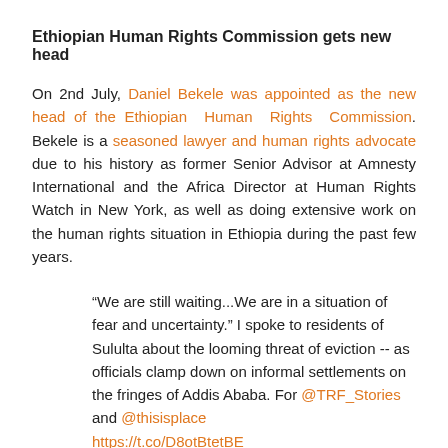Ethiopian Human Rights Commission gets new head
On 2nd July, Daniel Bekele was appointed as the new head of the Ethiopian Human Rights Commission. Bekele is a seasoned lawyer and human rights advocate due to his history as former Senior Advisor at Amnesty International and the Africa Director at Human Rights Watch in New York, as well as doing extensive work on the human rights situation in Ethiopia during the past few years.
“We are still waiting...We are in a situation of fear and uncertainty.” I spoke to residents of Sululta about the looming threat of eviction -- as officials clamp down on informal settlements on the fringes of Addis Ababa. For @TRF_Stories and @thisisplace https://t.co/D8otBtetBE pic.twitter.com/DOt31xKhB0
— Tom Gardner (@TomGardner18) April 25, 2019